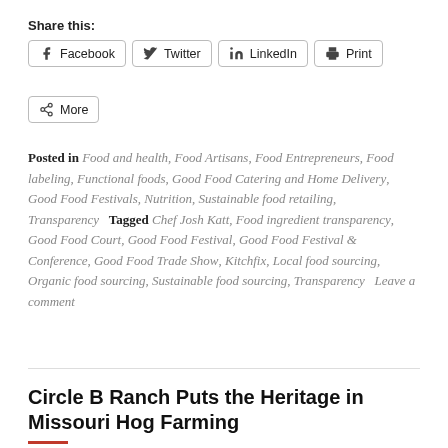[...]
Share this:
Facebook | Twitter | LinkedIn | Print | More
Posted in Food and health, Food Artisans, Food Entrepreneurs, Food labeling, Functional foods, Good Food Catering and Home Delivery, Good Food Festivals, Nutrition, Sustainable food retailing, Transparency   Tagged Chef Josh Katt, Food ingredient transparency, Good Food Court, Good Food Festival, Good Food Festival & Conference, Good Food Trade Show, Kitchfix, Local food sourcing, Organic food sourcing, Sustainable food sourcing, Transparency   Leave a comment
Circle B Ranch Puts the Heritage in Missouri Hog Farming
Posted on February 20, 2017